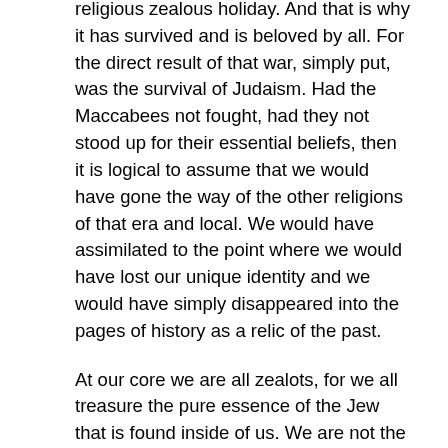religious zealous holiday. And that is why it has survived and is beloved by all. For the direct result of that war, simply put, was the survival of Judaism. Had the Maccabees not fought, had they not stood up for their essential beliefs, then it is logical to assume that we would have gone the way of the other religions of that era and local. We would have assimilated to the point where we would have lost our unique identity and we would have simply disappeared into the pages of history as a relic of the past.
At our core we are all zealots, for we all treasure the pure essence of the Jew that is found inside of us. We are not the so-called ‘sensible Jews’, who are simply retaining the habits of our ancestors, which will by nature be eradicated as time, convenience,  modern inventions and reality get in the way. Our Judaism is not a fashion statement that will have its time and then be replaced. It is the essence of who we are, it is our exclusivity, and when push comes to shove it is something that we are willing to give our lives